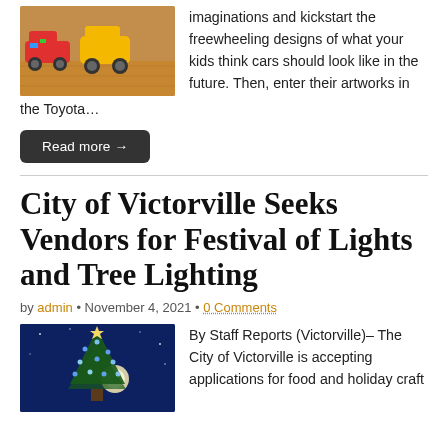[Figure (photo): Photo of toy cars on a wooden floor, colorful and futuristic-looking]
imaginations and kickstart the freewheeling designs of what your kids think cars should look like in the future. Then, enter their artworks in the Toyota…
Read more →
City of Victorville Seeks Vendors for Festival of Lights and Tree Lighting
by admin • November 4, 2021 • 0 Comments
[Figure (photo): Photo of a lit Christmas tree at night with blue lights against a dark blue sky]
By Staff Reports (Victorville)– The City of Victorville is accepting applications for food and holiday craft